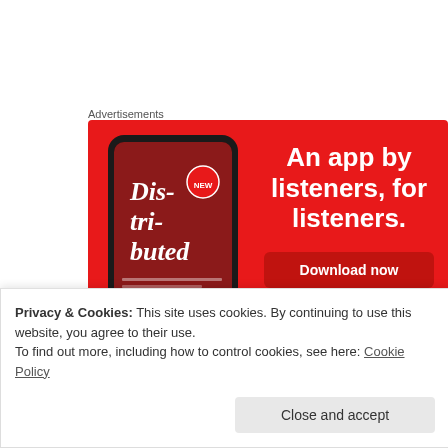Advertisements
[Figure (other): Advertisement banner for a podcast app with red background. Shows a smartphone displaying a podcast called 'Distributed'. Text reads: 'An app by listeners, for listeners.' with a 'Download now' button.]
Privacy & Cookies: This site uses cookies. By continuing to use this website, you agree to their use.
To find out more, including how to control cookies, see here: Cookie Policy
Close and accept
darkness into his marvellous light;